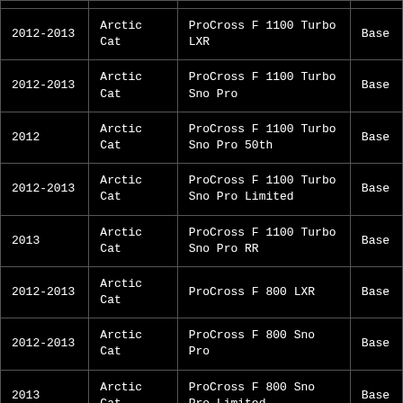| Year | Make | Model | Trim |
| --- | --- | --- | --- |
| 2012-2013 | Arctic Cat | ProCross F 1100 Turbo LXR | Base |
| 2012-2013 | Arctic Cat | ProCross F 1100 Turbo Sno Pro | Base |
| 2012 | Arctic Cat | ProCross F 1100 Turbo Sno Pro 50th | Base |
| 2012-2013 | Arctic Cat | ProCross F 1100 Turbo Sno Pro Limited | Base |
| 2013 | Arctic Cat | ProCross F 1100 Turbo Sno Pro RR | Base |
| 2012-2013 | Arctic Cat | ProCross F 800 LXR | Base |
| 2012-2013 | Arctic Cat | ProCross F 800 Sno Pro | Base |
| 2013 | Arctic Cat | ProCross F 800 Sno Pro Limited | Base |